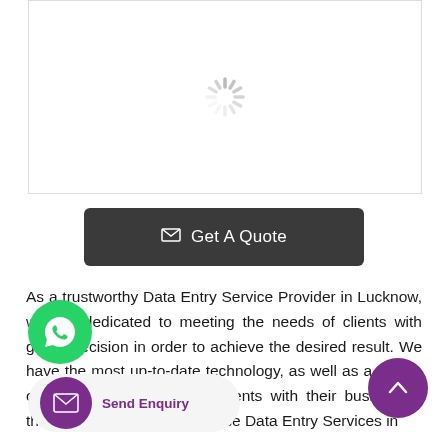[Figure (illustration): Loading spinner / image placeholder inside a bordered box]
Get A Quote
As a trustworthy Data Entry Service Provider in Lucknow, we are dedicated to meeting the needs of clients with great precision in order to achieve the desired result. We have the most up-to-date technology, as well as a wealth of knowledge to help our clients with their businesses through our unique and precise Data Entry Services in